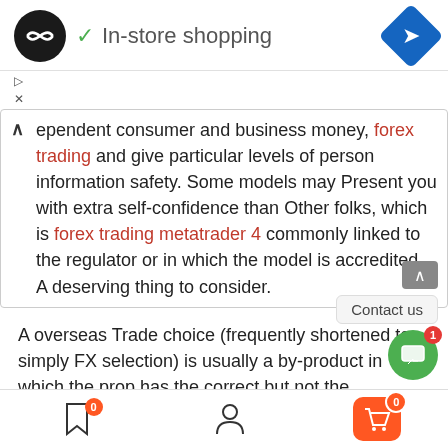[Figure (screenshot): Mobile app header with logo, 'In-store shopping' label with checkmark, and navigation diamond icon]
▷
✕
ependent consumer and business money, forex trading and give particular levels of person information safety. Some models may Present you with extra self-confidence than Other folks, which is forex trading metatrader 4 commonly linked to the regulator or in which the model is accredited. A deserving thing to consider.
A overseas Trade choice (frequently shortened to simply FX selection) is usually a by-product in which the prop has the correct but not the obligation to exchange denominated in a single currency into An additional